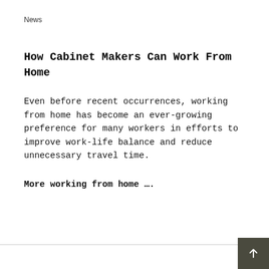News
How Cabinet Makers Can Work From Home
Even before recent occurrences, working from home has become an ever-growing preference for many workers in efforts to improve work-life balance and reduce unnecessary travel time.
More working from home ….